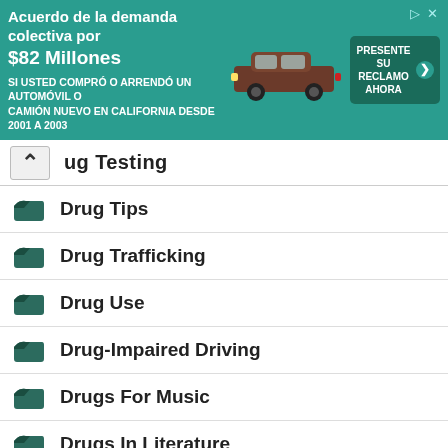[Figure (screenshot): Advertisement banner in Spanish for a class action lawsuit settlement of $82 million for people who bought or leased a new car or truck in California from 2001 to 2003. Shows a brown pickup truck and a green call-to-action button reading 'PRESENTE SU RECLAMO AHORA'.]
Drug Testing
Drug Tips
Drug Trafficking
Drug Use
Drug-Impaired Driving
Drugs For Music
Drugs In Literature
Drunk
Dry Flower
Dry Rig
Dubai